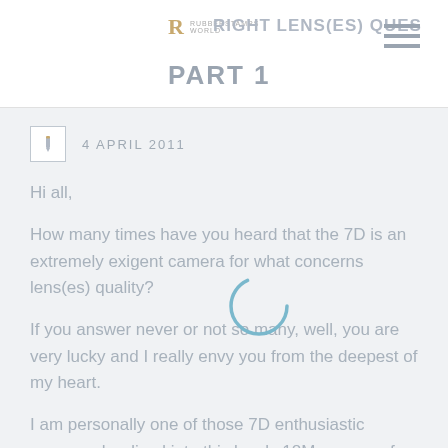RIGHT LENS(ES) QUES PART 1
4 APRIL 2011
Hi all,
How many times have you heard that the 7D is an extremely exigent camera for what concerns lens(es) quality?
If you answer never or not so many, well, you are very lucky and I really envy you from the deepest of my heart.
I am personally one of those 7D enthusiastic owners who dived into this lovely 18Mp ocean of dense quality without the right boat (read...the lens)